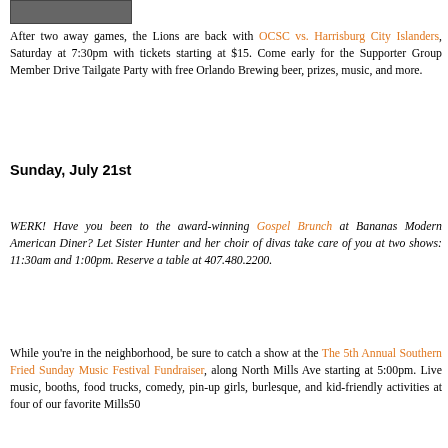[Figure (photo): Partial image visible at top of page, appears to be a photo or screenshot]
After two away games, the Lions are back with OCSC vs. Harrisburg City Islanders, Saturday at 7:30pm with tickets starting at $15. Come early for the Supporter Group Member Drive Tailgate Party with free Orlando Brewing beer, prizes, music, and more.
Sunday, July 21st
WERK! Have you been to the award-winning Gospel Brunch at Bananas Modern American Diner? Let Sister Hunter and her choir of divas take care of you at two shows: 11:30am and 1:00pm. Reserve a table at 407.480.2200.
While you're in the neighborhood, be sure to catch a show at the The 5th Annual Southern Fried Sunday Music Festival Fundraiser, along North Mills Ave starting at 5:00pm. Live music, booths, food trucks, comedy, pin-up girls, burlesque, and kid-friendly activities at four of our favorite Mills50